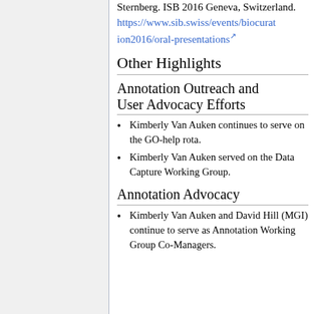Sternberg. ISB 2016 Geneva, Switzerland. https://www.sib.swiss/events/biocuration2016/oral-presentations
Other Highlights
Annotation Outreach and User Advocacy Efforts
Kimberly Van Auken continues to serve on the GO-help rota.
Kimberly Van Auken served on the Data Capture Working Group.
Annotation Advocacy
Kimberly Van Auken and David Hill (MGI) continue to serve as Annotation Working Group Co-Managers.